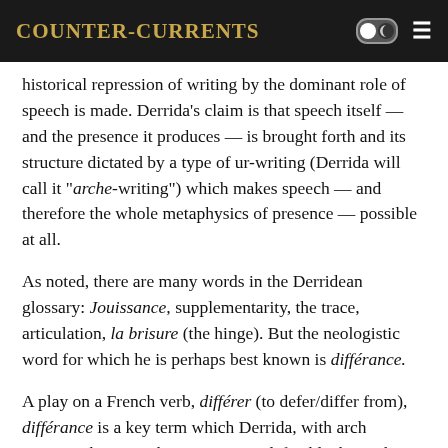Counter-Currents
historical repression of writing by the dominant role of speech is made. Derrida's claim is that speech itself — and the presence it produces — is brought forth and its structure dictated by a type of ur-writing (Derrida will call it "arche-writing") which makes speech — and therefore the whole metaphysics of presence — possible at all.
As noted, there are many words in the Derridean glossary: Jouissance, supplementarity, the trace, articulation, la brisure (the hinge). But the neologistic word for which he is perhaps best known is différance.
A play on a French verb, différer (to defer/differ from), différance is a key term which Derrida, with arch Parisian showmanship, says is not definable, but rather at the heart of definition itself. It is also exemplary of the grandiose excursions of Derrida's writing in which we can go from